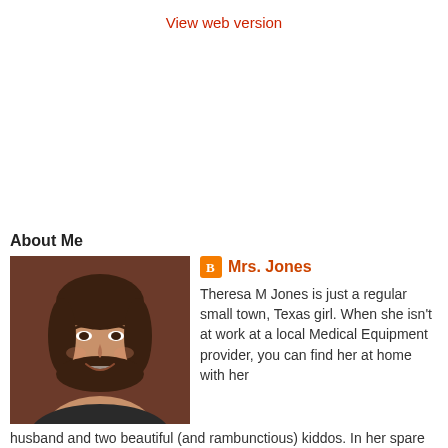View web version
About Me
[Figure (photo): Profile photo of Mrs. Jones, a young woman with dark hair, smiling]
Mrs. Jones
Theresa M Jones is just a regular small town, Texas girl. When she isn't at work at a local Medical Equipment provider, you can find her at home with her husband and two beautiful (and rambunctious) kiddos. In her spare